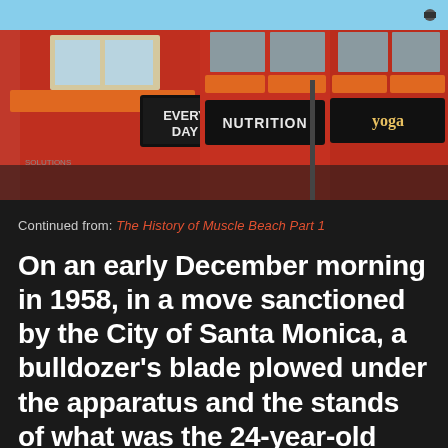[Figure (photo): Bright orange/red building facade with signs reading 'EVERY DAY', 'NUTRITION', and 'yoga' with orange awnings]
Continued from: The History of Muscle Beach Part 1
On an early December morning in 1958, in a move sanctioned by the City of Santa Monica, a bulldozer's blade plowed under the apparatus and the stands of what was the 24-year-old home of strength